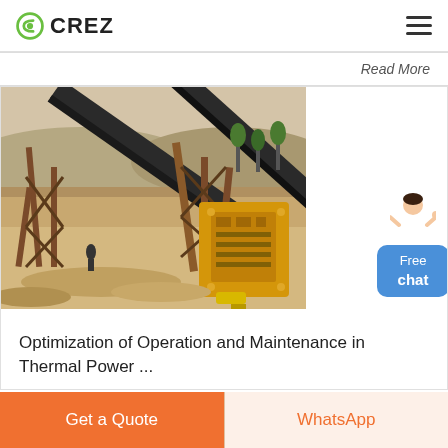CREZ
Read More
[Figure (photo): Industrial mining/crushing plant with conveyor belts and yellow crusher machinery at an open-pit quarry site.]
[Figure (illustration): Free chat button with avatar of a person. Shows 'Free chat' in blue rounded button.]
Optimization of Operation and Maintenance in Thermal Power ...
Get a Quote
WhatsApp